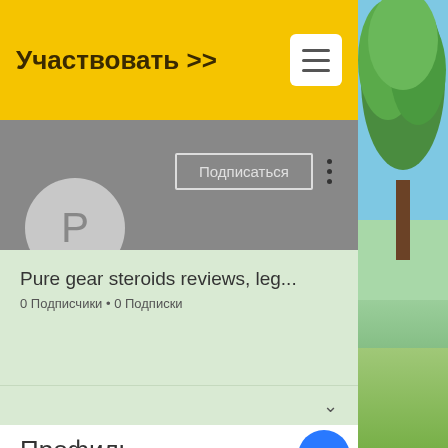Участвовать >>
[Figure (screenshot): Hamburger menu button — white rectangle with three horizontal lines]
[Figure (photo): Decorative right-side panel showing a tree with green foliage against a blue sky]
[Figure (illustration): Gray profile banner background]
Подписаться
[Figure (illustration): Gray avatar circle with letter P]
Pure gear steroids reviews, leg...
0 Подписчики • 0 Подписки
Профиль
Дата регистрации: 17 мая 2022 г.